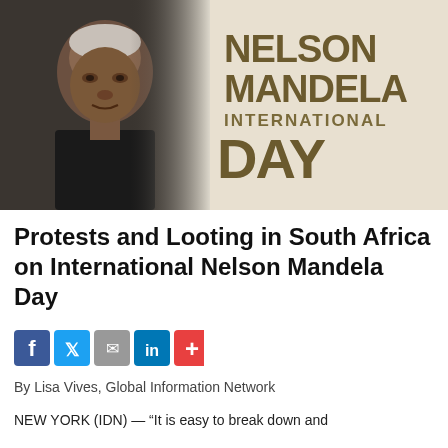[Figure (photo): Banner image with a photo of Nelson Mandela (elderly man, grey hair) on the left and text 'NELSON MANDELA INTERNATIONAL DAY' in bold dark gold/brown on the right against a light beige background.]
Protests and Looting in South Africa on International Nelson Mandela Day
[Figure (infographic): Social media share buttons: Facebook (blue, f), Twitter (light blue, bird), Email (grey, envelope), LinkedIn (blue, in), Plus/More (red, +)]
By Lisa Vives, Global Information Network
NEW YORK (IDN) — “It is easy to break down and